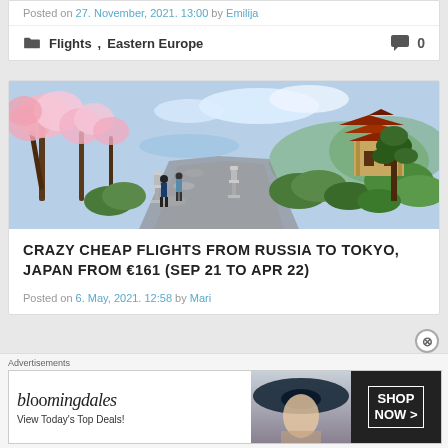Posted on 27. November, 2021. 13:00 by Emilija
Flights , Eastern Europe  0
[Figure (photo): Japanese garden with cherry blossom trees lining a stone path, stone lanterns, manicured shrubs, and a traditional Japanese pagoda/temple building in the background]
CRAZY CHEAP FLIGHTS FROM RUSSIA TO TOKYO, JAPAN FROM €161 (SEP 21 TO APR 22)
Posted on 6. May, 2021. 12:58 by Mari
Flights , Eastern Europe  0
[Figure (other): Bloomingdale's advertisement banner: 'View Today's Top Deals!' with SHOP NOW > button and model wearing wide-brim hat]